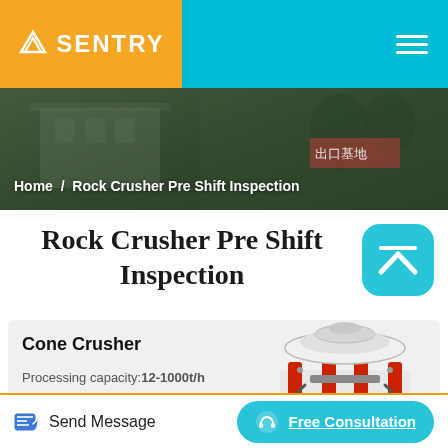SENTRY
Home / Rock Crusher Pre Shift Inspection
Rock Crusher Pre Shift Inspection
[Figure (photo): Cone crusher machine — white and red heavy industrial equipment with wheels]
Cone Crusher
Processing capacity:12-1000t/h
Max Feeding Size:35-300mm
Send Message
Free Consultation